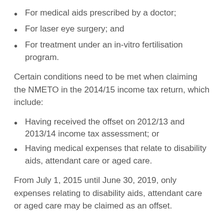For medical aids prescribed by a doctor;
For laser eye surgery; and
For treatment under an in-vitro fertilisation program.
Certain conditions need to be met when claiming the NMETO in the 2014/15 income tax return, which include:
Having received the offset on 2012/13 and 2013/14 income tax assessment; or
Having medical expenses that relate to disability aids, attendant care or aged care.
From July 1, 2015 until June 30, 2019, only expenses relating to disability aids, attendant care or aged care may be claimed as an offset.